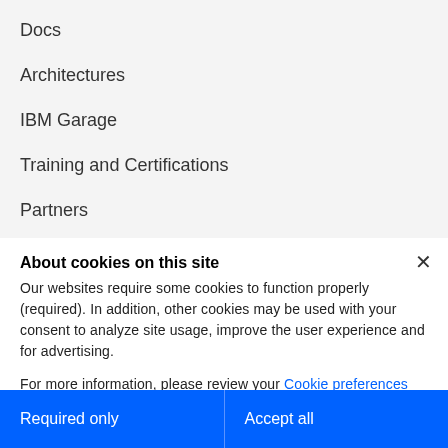Docs
Architectures
IBM Garage
Training and Certifications
Partners
Cloud blog
About cookies on this site
Our websites require some cookies to function properly (required). In addition, other cookies may be used with your consent to analyze site usage, improve the user experience and for advertising.
For more information, please review your Cookie preferences options and IBM's privacy statement.
Required only
Accept all